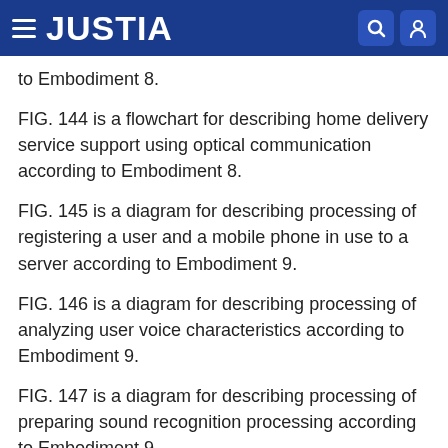JUSTIA
to Embodiment 8.
FIG. 144 is a flowchart for describing home delivery service support using optical communication according to Embodiment 8.
FIG. 145 is a diagram for describing processing of registering a user and a mobile phone in use to a server according to Embodiment 9.
FIG. 146 is a diagram for describing processing of analyzing user voice characteristics according to Embodiment 9.
FIG. 147 is a diagram for describing processing of preparing sound recognition processing according to Embodiment 9.
FIG. 148 is a diagram for describing processing of